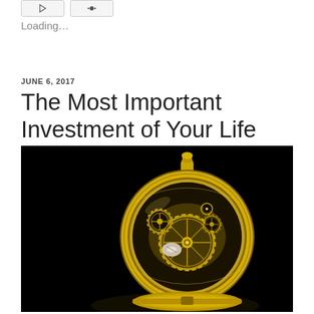Loading...
JUNE 6, 2017
The Most Important Investment of Your Life
[Figure (photo): Gold open-face pocket watch showing intricate mechanical movement/gears, photographed against a black background with dramatic lighting. The watch case is gold-colored and the back is open revealing the skeleton movement.]